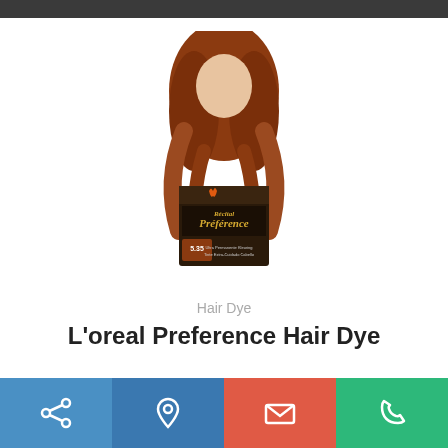[Figure (photo): L'oreal Preference hair dye box product photo showing a woman with auburn/copper hair and the product box with 'Préférence' branding, shade 5.35]
Hair Dye
L'oreal Preference Hair Dye
[Figure (infographic): Bottom navigation bar with four colored buttons: share (blue), location pin (dark blue), mail (red-orange), phone (green)]